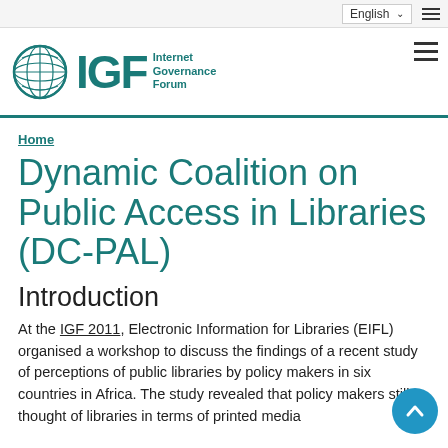IGF Internet Governance Forum — English language selector
Home
Dynamic Coalition on Public Access in Libraries (DC-PAL)
Introduction
At the IGF 2011, Electronic Information for Libraries (EIFL) organised a workshop to discuss the findings of a recent study of perceptions of public libraries by policy makers in six countries in Africa. The study revealed that policy makers still thought of libraries in terms of printed media